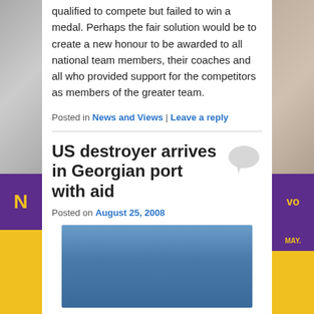qualified to compete but failed to win a medal. Perhaps the fair solution would be to create a new honour to be awarded to all national team members, their coaches and all who provided support for the competitors as members of the greater team.
Posted in News and Views | Leave a reply
US destroyer arrives in Georgian port with aid
Posted on August 25, 2008
[Figure (photo): Photograph of a ship or naval vessel, showing a blue sky background, partially visible at bottom of page.]